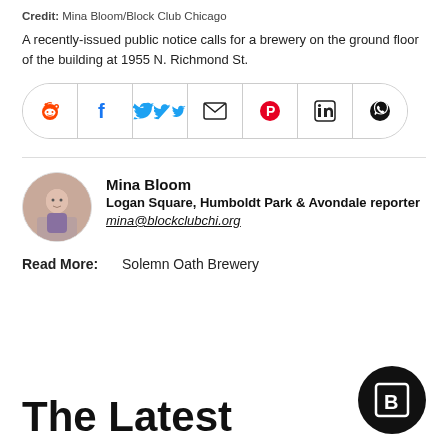Credit: Mina Bloom/Block Club Chicago
A recently-issued public notice calls for a brewery on the ground floor of the building at 1955 N. Richmond St.
[Figure (other): Social share button bar with icons for Reddit, Facebook, Twitter, Email, Pinterest, LinkedIn, WhatsApp]
Mina Bloom
Logan Square, Humboldt Park & Avondale reporter
mina@blockclubchi.org
Read More: Solemn Oath Brewery
The Latest
[Figure (logo): Block Club Chicago logo — black circle with white B in a square]